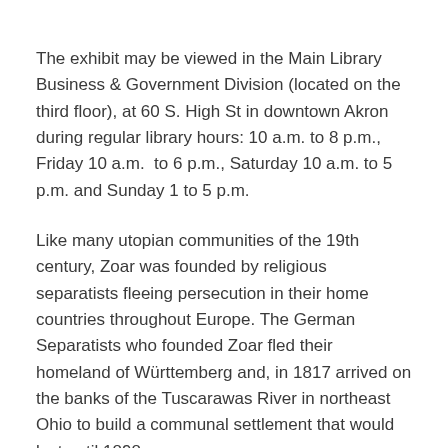The exhibit may be viewed in the Main Library Business & Government Division (located on the third floor), at 60 S. High St in downtown Akron during regular library hours: 10 a.m. to 8 p.m., Friday 10 a.m.  to 6 p.m., Saturday 10 a.m. to 5 p.m. and Sunday 1 to 5 p.m.
Like many utopian communities of the 19th century, Zoar was founded by religious separatists fleeing persecution in their home countries throughout Europe. The German Separatists who founded Zoar fled their homeland of Württemberg and, in 1817 arrived on the banks of the Tuscarawas River in northeast Ohio to build a communal settlement that would last until 1898.
The Separatists thrived on agriculture but also applied their work ethic and entrepreneurial spirit to other